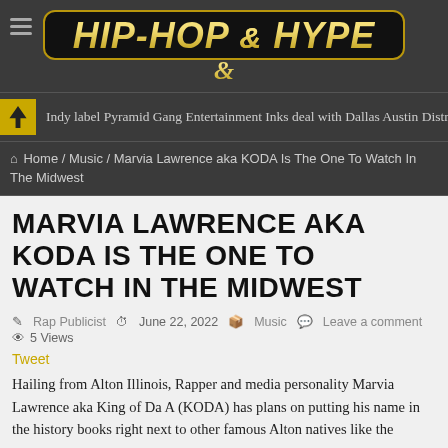[Figure (logo): Hip-Hop & Hype logo — gold metallic text on black rounded rectangle with gold border, with ampersand below]
Indy label Pyramid Gang Entertainment Inks deal with Dallas Austin Distribu...
Home / Music / Marvia Lawrence aka KODA Is The One To Watch In The Midwest
MARVIA LAWRENCE AKA KODA IS THE ONE TO WATCH IN THE MIDWEST
Rap Publicist   June 22, 2022   Music   Leave a comment   5 Views
Tweet
Hailing from Alton Illinois, Rapper and media personality Marvia Lawrence aka King of Da A (KODA) has plans on putting his name in the history books right next to other famous Alton natives like the